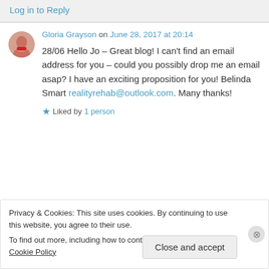Log in to Reply
Gloria Grayson on June 28, 2017 at 20:14
28/06 Hello Jo – Great blog! I can't find an email address for you – could you possibly drop me an email asap? I have an exciting proposition for you! Belinda Smart realityrehab@outlook.com. Many thanks!
Liked by 1 person
Privacy & Cookies: This site uses cookies. By continuing to use this website, you agree to their use. To find out more, including how to control cookies, see here: Cookie Policy